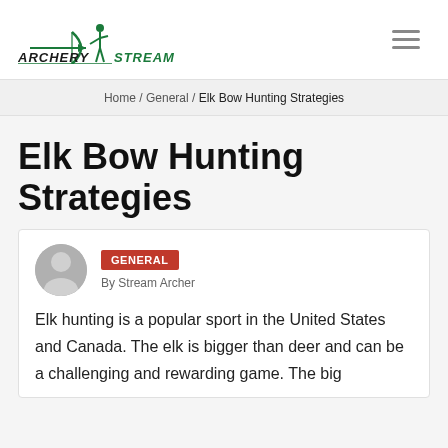[Figure (logo): Archery Stream logo with archer silhouette and text]
Home / General / Elk Bow Hunting Strategies
Elk Bow Hunting Strategies
GENERAL
By Stream Archer
Elk hunting is a popular sport in the United States and Canada. The elk is bigger than deer and can be a challenging and rewarding game. The big